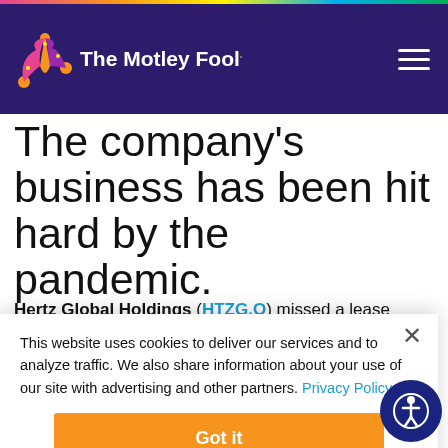The Motley Fool
The company's business has been hit hard by the pandemic.
Hertz Global Holdings (HTZG.Q) missed a lease
This website uses cookies to deliver our services and to analyze traffic. We also share information about your use of our site with advertising and other partners. Privacy Policy
Got it
Cookie Settings